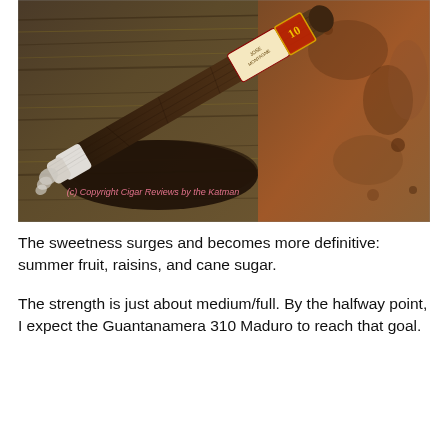[Figure (photo): A lit cigar with a Jose Montagne band resting in a wooden ashtray against a rusty metal background. The cigar has a dark maduro wrapper and white ash at the foot. A pink watermark reads '(c) Copyright Cigar Reviews by the Katman'.]
The sweetness surges and becomes more definitive: summer fruit, raisins, and cane sugar.
The strength is just about medium/full. By the halfway point, I expect the Guantanamera 310 Maduro to reach that goal.